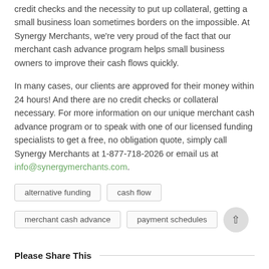credit checks and the necessity to put up collateral, getting a small business loan sometimes borders on the impossible. At Synergy Merchants, we're very proud of the fact that our merchant cash advance program helps small business owners to improve their cash flows quickly.
In many cases, our clients are approved for their money within 24 hours! And there are no credit checks or collateral necessary. For more information on our unique merchant cash advance program or to speak with one of our licensed funding specialists to get a free, no obligation quote, simply call Synergy Merchants at 1-877-718-2026 or email us at info@synergymerchants.com.
alternative funding
cash flow
merchant cash advance
payment schedules
Please Share This